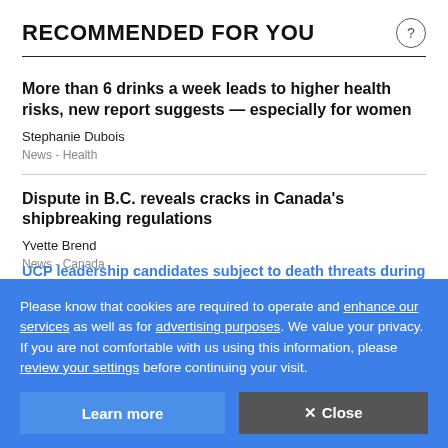RECOMMENDED FOR YOU
More than 6 drinks a week leads to higher health risks, new report suggests — especially for women
Stephanie Dubois
News  -  Health
Dispute in B.C. reveals cracks in Canada's shipbreaking regulations
Yvette Brend
News  -  Canada
The love of my life died. My grief had to take a back seat to putting food on the table for me and...
Wendy Dayvill
Canada  -  Edmonton
Please know that cookies are required to operate and enhance our services as well as for advertising purposes. We value your privacy. If you are not comfortable with us using this information, please review your settings before continuing your visit.
Learn more
✕ Close
UCP leadership candidates subject to death threats during campaign